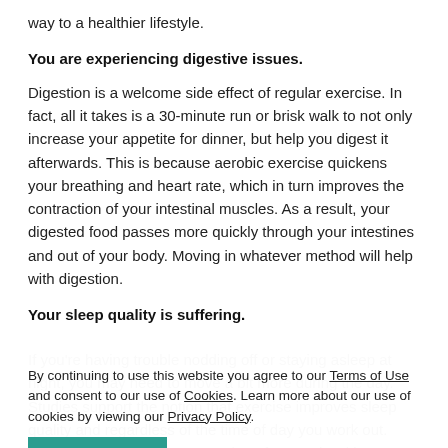way to a healthier lifestyle.
You are experiencing digestive issues.
Digestion is a welcome side effect of regular exercise. In fact, all it takes is a 30-minute run or brisk walk to not only increase your appetite for dinner, but help you digest it afterwards. This is because aerobic exercise quickens your breathing and heart rate, which in turn improves the contraction of your intestinal muscles. As a result, your digested food passes more quickly through your intestines and out of your body. Moving in whatever method will help with digestion.
Your sleep quality is suffering.
If you're having trouble nodding off or staying asleep at night, you may need to move a bit more during the day. Studies support the notion that exercise improves sleep quality and regardless of the time of day you work out. Other that exercise improves sleep for people with insomnia and may significantly elevate mood. If you've been
By continuing to use this website you agree to our Terms of Use and consent to our use of Cookies. Learn more about our use of cookies by viewing our Privacy Policy.